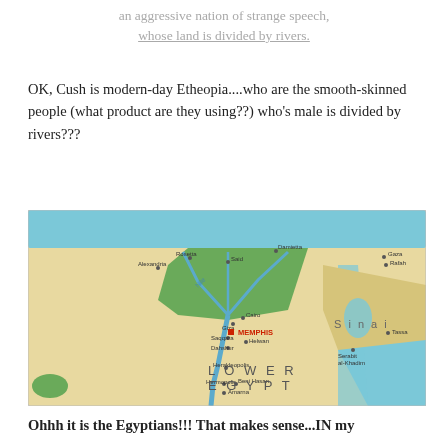an aggressive nation of strange speech, whose land is divided by rivers.
OK, Cush is modern-day Etheopia....who are the smooth-skinned people (what product are they using??) who's male is divided by rivers???
[Figure (map): Map of Lower Egypt and the Nile Delta region showing cities including Memphis (marked in red), Sinai, and surrounding areas with rivers, the Mediterranean Sea to the north, and the Red Sea to the east.]
Ohhh it is the Egyptians!!! That makes sense...IN my